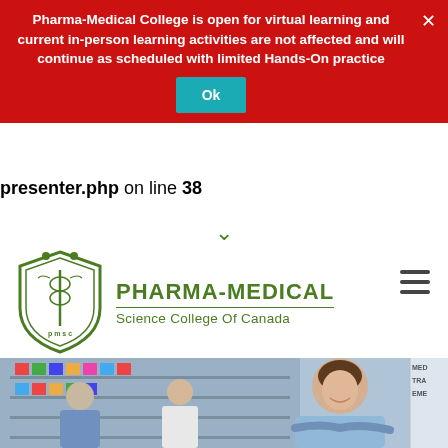Pharma-Medical College is open for virtual learning and current in-person learning activities are not affected and will continue as scheduled with limited Hands-On practice
Ok
presenter.php on line 38
[Figure (logo): Pharma-Medical Science College Of Canada logo with shield emblem and green text]
[Figure (photo): A smiling female pharmacy technician in a blue uniform with arms crossed, standing in a pharmacy with shelves of medicines in the background and two other staff members]